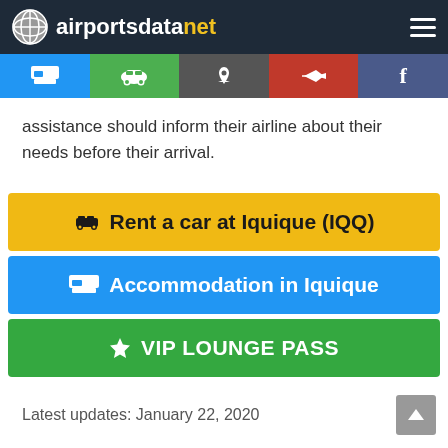airportsdatanet
assistance should inform their airline about their needs before their arrival.
Rent a car at Iquique (IQQ)
Accommodation in Iquique
VIP LOUNGE PASS
Latest updates: January 22, 2020